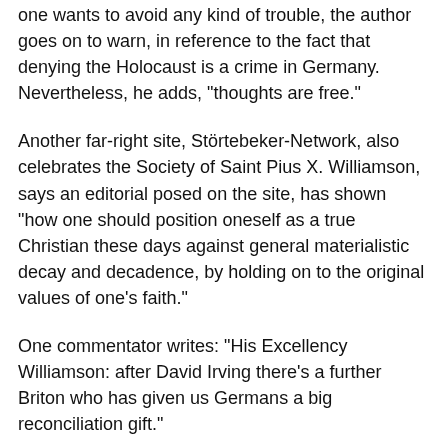one wants to avoid any kind of trouble, the author goes on to warn, in reference to the fact that denying the Holocaust is a crime in Germany. Nevertheless, he adds, "thoughts are free."
Another far-right site, Störtebeker-Network, also celebrates the Society of Saint Pius X. Williamson, says an editorial posed on the site, has shown "how one should position oneself as a true Christian these days against general materialistic decay and decadence, by holding on to the original values of one’s faith."
One commentator writes: "His Excellency Williamson: after David Irving there's a further Briton who has given us Germans a big reconciliation gift."
The closing of ranks between the German pope and the right fringe of his church is threatening to turn into the biggest mistake of his term.